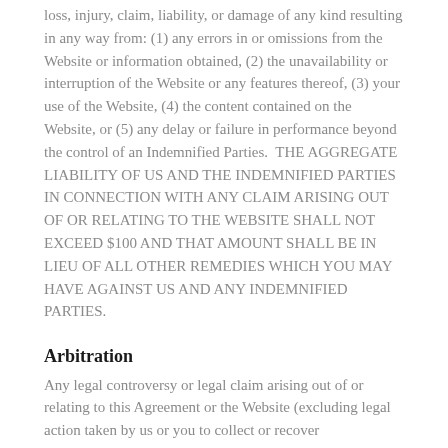loss, injury, claim, liability, or damage of any kind resulting in any way from: (1) any errors in or omissions from the Website or information obtained, (2) the unavailability or interruption of the Website or any features thereof, (3) your use of the Website, (4) the content contained on the Website, or (5) any delay or failure in performance beyond the control of an Indemnified Parties.  THE AGGREGATE LIABILITY OF US AND THE INDEMNIFIED PARTIES IN CONNECTION WITH ANY CLAIM ARISING OUT OF OR RELATING TO THE WEBSITE SHALL NOT EXCEED $100 AND THAT AMOUNT SHALL BE IN LIEU OF ALL OTHER REMEDIES WHICH YOU MAY HAVE AGAINST US AND ANY INDEMNIFIED PARTIES.
Arbitration
Any legal controversy or legal claim arising out of or relating to this Agreement or the Website (excluding legal action taken by us or you to collect or recover